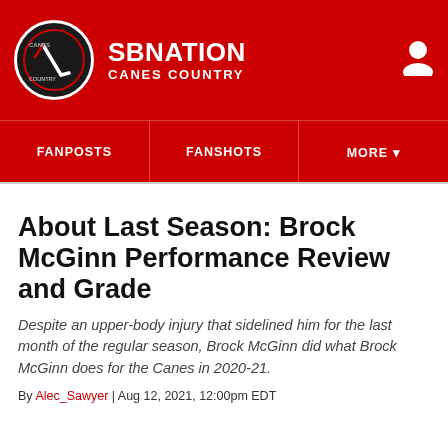SB NATION / CANES COUNTRY
FANPOSTS | FANSHOTS | MORE
About Last Season: Brock McGinn Performance Review and Grade
Despite an upper-body injury that sidelined him for the last month of the regular season, Brock McGinn did what Brock McGinn does for the Canes in 2020-21.
By Alec_Sawyer | Aug 12, 2021, 12:00pm EDT